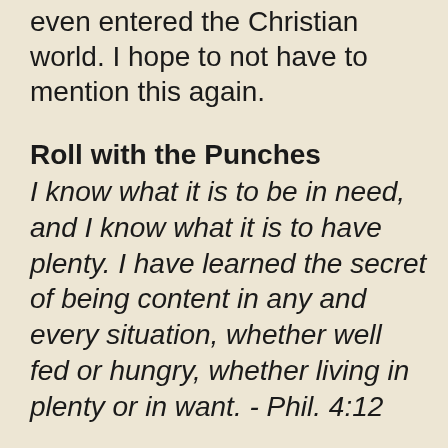even entered the Christian world. I hope to not have to mention this again.
Roll with the Punches
I know what it is to be in need, and I know what it is to have plenty. I have learned the secret of being content in any and every situation, whether well fed or hungry, whether living in plenty or in want. - Phil. 4:12